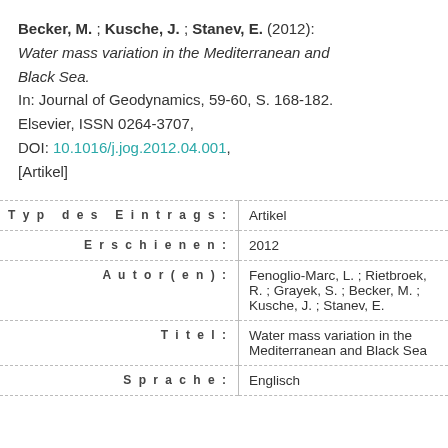Becker, M. ; Kusche, J. ; Stanev, E. (2012): Water mass variation in the Mediterranean and Black Sea. In: Journal of Geodynamics, 59-60, S. 168-182. Elsevier, ISSN 0264-3707, DOI: 10.1016/j.jog.2012.04.001, [Artikel]
| Label | Value |
| --- | --- |
| Typ des Eintrags: | Artikel |
| Erschienen: | 2012 |
| Autor(en): | Fenoglio-Marc, L. ; Rietbroek, R. ; Grayek, S. ; Becker, M. ; Kusche, J. ; Stanev, E. |
| Titel: | Water mass variation in the Mediterranean and Black Sea |
| Sprache: | Englisch |